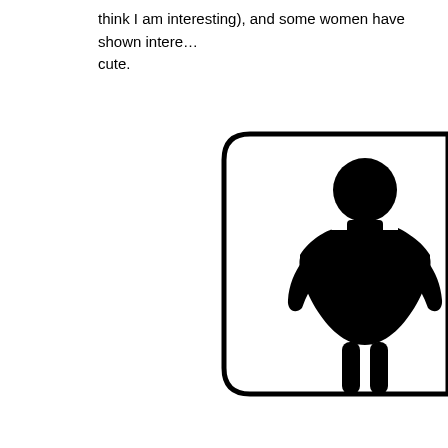think I am interesting), and some women have shown intere... cute.
[Figure (illustration): A black stick-figure icon of a woman wearing a dress, inside a rounded rectangle border. The figure has a circular head, body in a triangular dress shape, and two legs. The image is cropped on the right side.]